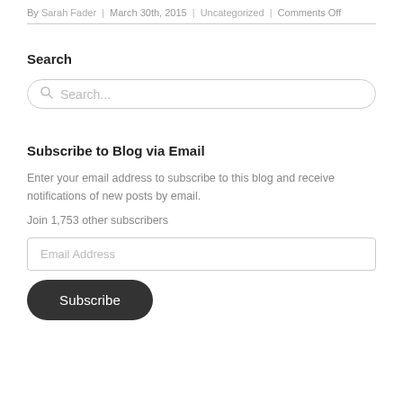By Sarah Fader | March 30th, 2015 | Uncategorized | Comments Off
Search
Search...
Subscribe to Blog via Email
Enter your email address to subscribe to this blog and receive notifications of new posts by email.
Join 1,753 other subscribers
Email Address
Subscribe